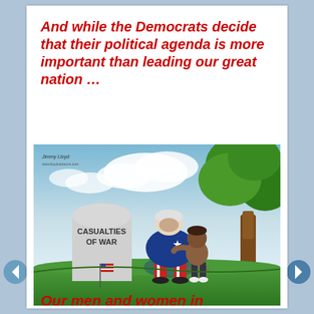And while the Democrats decide that their political agenda is more important than leading our great nation …
[Figure (illustration): Political cartoon showing Uncle Sam sitting hunched over at a gravestone labeled 'CASUALTIES OF WAR' with a small child comforting him, a tree in the background and a small American flag leaning against the headstone. Signed by Jimmy Lloyd.]
Our men and women in